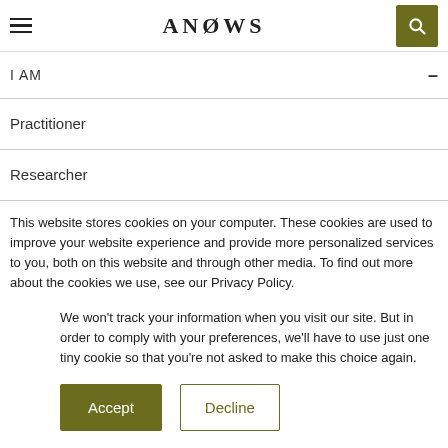ANROWS
I AM
Practitioner
Researcher
This website stores cookies on your computer. These cookies are used to improve your website experience and provide more personalized services to you, both on this website and through other media. To find out more about the cookies we use, see our Privacy Policy.
We won't track your information when you visit our site. But in order to comply with your preferences, we'll have to use just one tiny cookie so that you're not asked to make this choice again.